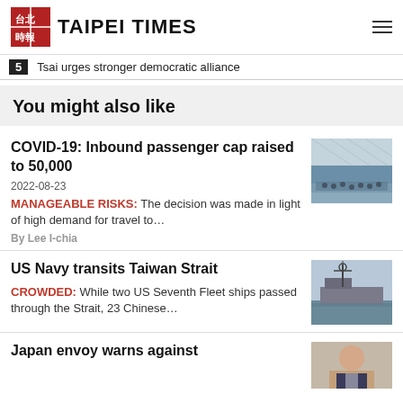TAIPEI TIMES
5  Tsai urges stronger democratic alliance
You might also like
COVID-19: Inbound passenger cap raised to 50,000
2022-08-23
MANAGEABLE RISKS: The decision was made in light of high demand for travel to…
By Lee I-chia
[Figure (photo): Aerial view of a busy airport terminal interior with many passengers]
US Navy transits Taiwan Strait
CROWDED: While two US Seventh Fleet ships passed through the Strait, 23 Chinese…
[Figure (photo): A US Navy warship at sea with radar mast visible]
Japan envoy warns against
[Figure (photo): Portrait of a person, partially visible]